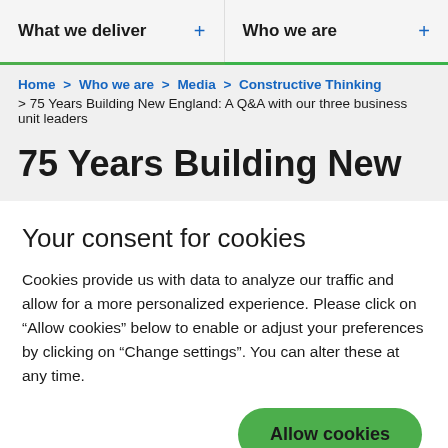What we deliver  +    Who we are  +
Home > Who we are > Media > Constructive Thinking > 75 Years Building New England: A Q&A with our three business unit leaders
75 Years Building New
Your consent for cookies
Cookies provide us with data to analyze our traffic and allow for a more personalized experience. Please click on “Allow cookies” below to enable or adjust your preferences by clicking on “Change settings”. You can alter these at any time.
Allow cookies